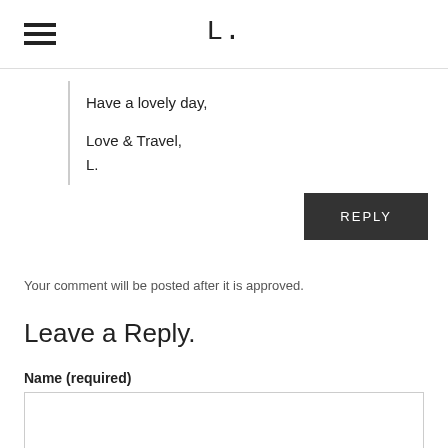L.
Have a lovely day,

Love & Travel,
L.
REPLY
Your comment will be posted after it is approved.
Leave a Reply.
Name (required)